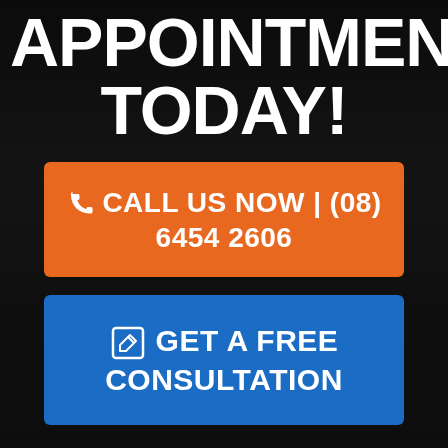APPOINTMENT TODAY!
CALL US NOW | (08) 6454 2606
GET A FREE CONSULTATION